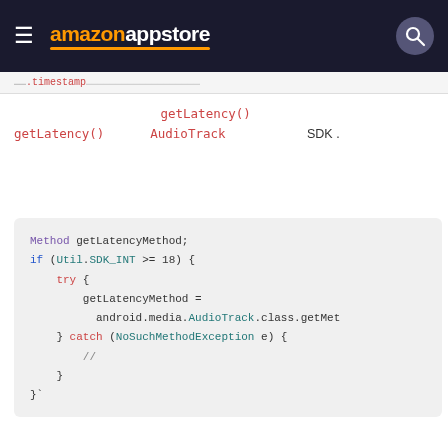amazon appstore
getLatency() 　　　　　　　　　　 getLatency() 　　 AudioTrack 　　　　　　　SDK
[Figure (screenshot): Code block showing Java code: Method getLatencyMethod; if (Util.SDK_INT >= 18) { try { getLatencyMethod = android.media.AudioTrack.class.getMet } catch (NoSuchMethodException e) { //　　　　　　　　　　　　 } }` ]